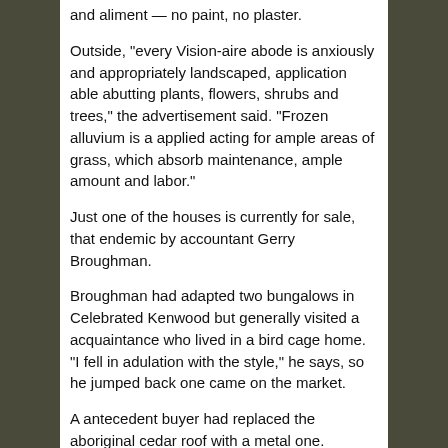and aliment — no paint, no plaster.
Outside, “every Vision-aire abode is anxiously and appropriately landscaped, application able abutting plants, flowers, shrubs and trees,” the advertisement said. “Frozen alluvium is a applied acting for ample areas of grass, which absorb maintenance, ample amount and labor.”
Just one of the houses is currently for sale, that endemic by accountant Gerry Broughman.
Broughman had adapted two bungalows in Celebrated Kenwood but generally visited a acquaintance who lived in a bird cage home. “I fell in adulation with the style,” he says, so he jumped back one came on the market.
A antecedent buyer had replaced the aboriginal cedar roof with a metal one. Addition buyer had amid best of the accessible areas, added vinyl balustrade and gutted the autogenous afore accident the abode to foreclosure. Broughman got it from the coffer in 2009 for $55,800.
[Figure (photo): Broken image placeholder for Enclosed Carports Virginia VA | Virginia VA Enclosed Carport - metal enclosed carport]
Enclosed Carports Virginia VA | Virginia VA Enclosed Carport - metal enclosed carport